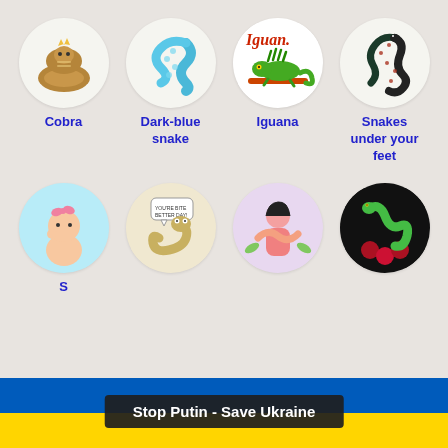[Figure (illustration): Grid of circular sticker-style illustrations of reptiles and animals. Row 1: Cobra (cartoon brown cobra with crown), Dark-blue snake (cartoon blue patterned snake), Iguana (cartoon green iguana on branch with 'Iguana' text), Snakes under your feet (detailed artistic snake illustration). Row 2 (partially visible): four more circles with baby, cartoon snake character, woman with snake, snake on black background.]
Cobra
Dark-blue snake
Iguana
Snakes under your feet
Stop Putin - Save Ukraine